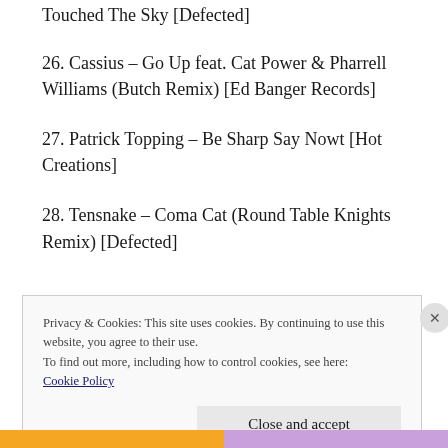Touched The Sky [Defected]
26. Cassius – Go Up feat. Cat Power & Pharrell Williams (Butch Remix) [Ed Banger Records]
27. Patrick Topping – Be Sharp Say Nowt [Hot Creations]
28. Tensnake – Coma Cat (Round Table Knights Remix) [Defected]
Privacy & Cookies: This site uses cookies. By continuing to use this website, you agree to their use. To find out more, including how to control cookies, see here: Cookie Policy
Close and accept